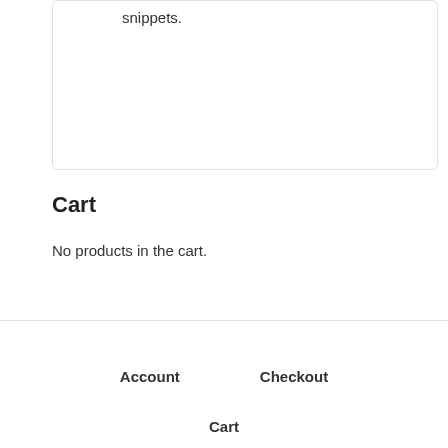snippets.
Cart
No products in the cart.
Account   Checkout
Cart